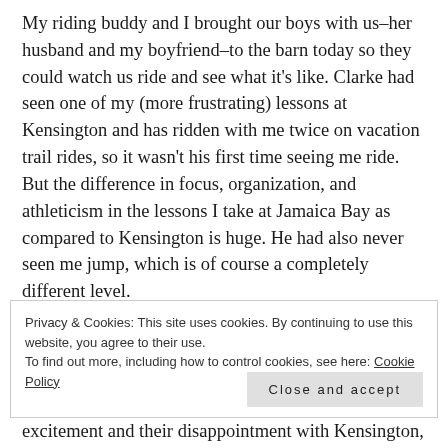My riding buddy and I brought our boys with us–her husband and my boyfriend–to the barn today so they could watch us ride and see what it's like. Clarke had seen one of my (more frustrating) lessons at Kensington and has ridden with me twice on vacation trail rides, so it wasn't his first time seeing me ride. But the difference in focus, organization, and athleticism in the lessons I take at Jamaica Bay as compared to Kensington is huge. He had also never seen me jump, which is of course a completely different level.
Privacy & Cookies: This site uses cookies. By continuing to use this website, you agree to their use.
To find out more, including how to control cookies, see here: Cookie Policy
Close and accept
excitement and their disappointment with Kensington, to